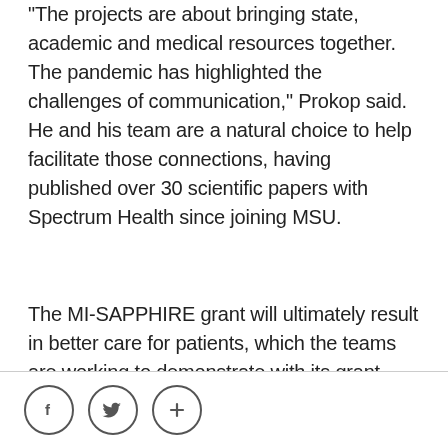“The projects are about bringing state, academic and medical resources together. The pandemic has highlighted the challenges of communication,” Prokop said. He and his team are a natural choice to help facilitate those connections, having published over 30 scientific papers with Spectrum Health since joining MSU.
The MI-SAPPHIRE grant will ultimately result in better care for patients, which the teams are working to demonstrate with its grant. “Just like with the human genome, understanding genetic details of the virus can transform our care for each patient,” Prokop said.
[Figure (other): Social media sharing buttons: Facebook (f), Twitter (bird icon), and a plus (+) button, displayed as circular outlined icons in the page footer.]